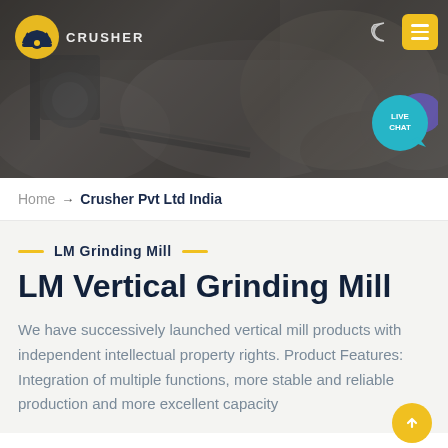[Figure (photo): Website header with a dark rocky quarry/crusher site background. A yellow and white crusher company logo is in the top left. Navigation icons (moon, hamburger menu in yellow) are top right. A teal 'LIVE CHAT' circular bubble is on the right side.]
Home → Crusher Pvt Ltd India
LM Grinding Mill
LM Vertical Grinding Mill
We have successively launched vertical mill products with independent intellectual property rights. Product Features: Integration of multiple functions, more stable and reliable production and more excellent capacity